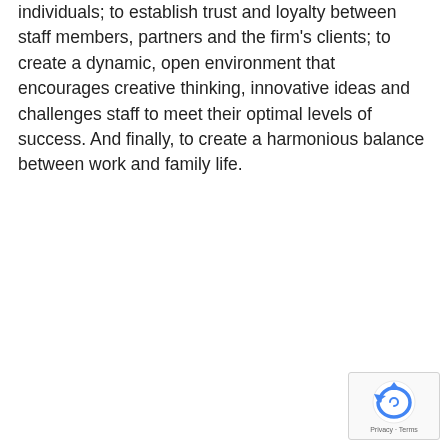individuals; to establish trust and loyalty between staff members, partners and the firm's clients; to create a dynamic, open environment that encourages creative thinking, innovative ideas and challenges staff to meet their optimal levels of success. And finally, to create a harmonious balance between work and family life.
[Figure (other): Google reCAPTCHA widget showing the reCAPTCHA icon and Privacy/Terms links]